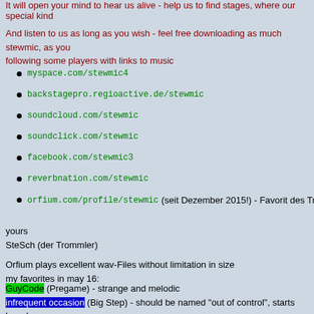It will open your mind to hear us alive - help us to find stages, where our special kind
And listen to us as long as you wish - feel free downloading as much stewmic, as you following some players with links to music
myspace.com/stewmic4
backstagepro.regioactive.de/stewmic
soundcloud.com/stewmic
soundclick.com/stewmic
facebook.com/stewmic3
reverbnation.com/stewmic
orfium.com/profile/stewmic (seit Dezember 2015!) - Favorit des Trommlers Mai
yours
SteSch (der Trommler)
Orfium plays excellent wav-Files without limitation in size
my favorites in may 16:
GuyCode (Pregame) - strange and melodic
infrequent occasion (Big Step) - should be named "out of control", starts harmless me
Musicmen (Big Step) - big deal, long and complex
Nayoloyin (Guy code) -